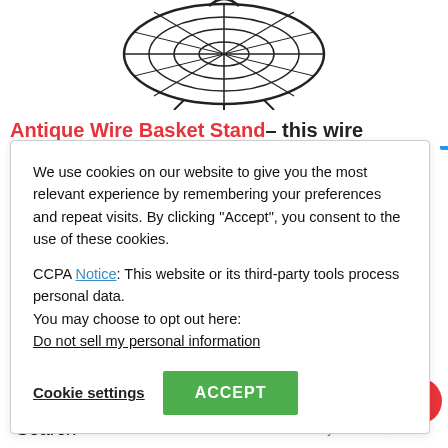[Figure (photo): Wire basket stand product image, black metal circular fan/basket shape on a white background]
Antique Wire Basket Stand– this wire
We use cookies on our website to give you the most relevant experience by remembering your preferences and repeat visits. By clicking “Accept”, you consent to the use of these cookies.
CCPA Notice: This website or its third-party tools process personal data.
You may choose to opt out here:
Do not sell my personal information
Cookie settings
ACCEPT
Check out this post: 5 Essential Items You Need to Style a Farmhouse Tiered Tray
Search
Ads by Amazon